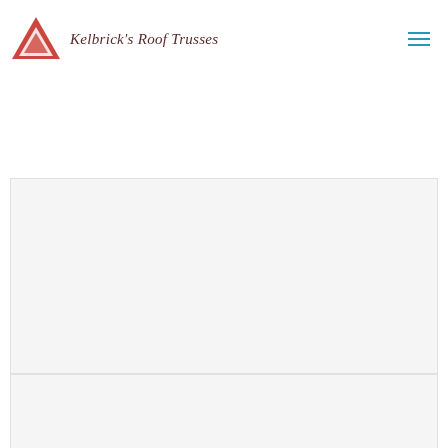[Figure (logo): Kelbrick's Roof Trusses logo with red triangle icon and italic text]
[Figure (other): Hamburger menu icon with three horizontal blue lines]
[Figure (photo): Top image placeholder area with light gray background]
[Figure (photo): Bottom image placeholder area with light gray background]